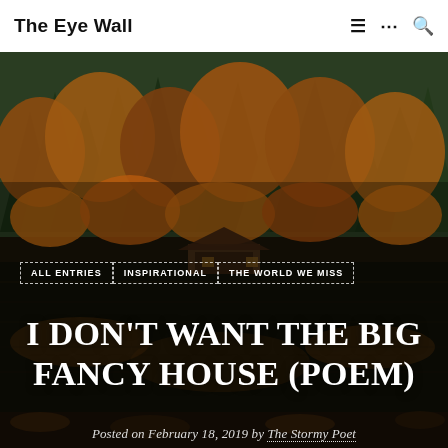The Eye Wall
[Figure (photo): Autumn forest scene with orange and green trees reflected in a dark lake, with a small cabin/covered bridge visible in the background]
ALL ENTRIES | INSPIRATIONAL | THE WORLD WE MISS
I DON'T WANT THE BIG FANCY HOUSE (POEM)
Posted on February 18, 2019 by The Stormy Poet
Reading time 2 minutes